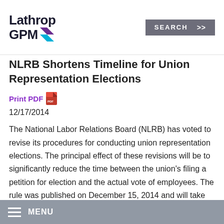Lathrop GPM [logo with arrow icon] | SEARCH >>
NLRB Shortens Timeline for Union Representation Elections
Print PDF
12/17/2014
The National Labor Relations Board (NLRB) has voted to revise its procedures for conducting union representation elections. The principal effect of these revisions will be to significantly reduce the time between the union's filing a petition for election and the actual vote of employees. The rule was published on December 15, 2014 and will take effect on April 14, 2015.
MENU